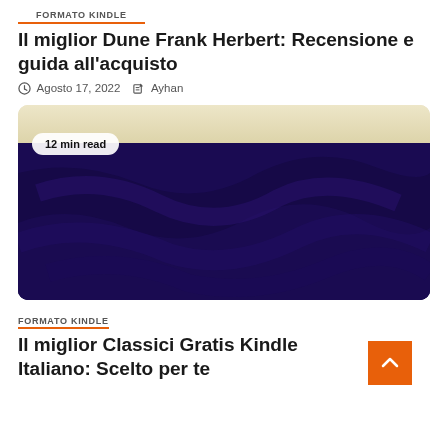FORMATO KINDLE
Il miglior Dune Frank Herbert: Recensione e guida all'acquisto
Agosto 17, 2022   Ayhan
[Figure (photo): Book cover image: Dune by Frank Herbert. Cream/beige top section and dark deep purple bottom section with swirling pattern. Badge reads '12 min read'.]
FORMATO KINDLE
Il miglior Classici Gratis Kindle Italiano: Scelto per te